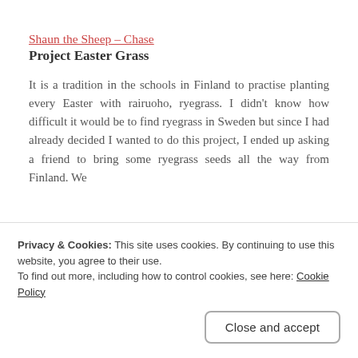Shaun the Sheep – Chase
Project Easter Grass
It is a tradition in the schools in Finland to practise planting every Easter with rairuoho, ryegrass. I didn't know how difficult it would be to find ryegrass in Sweden but since I had already decided I wanted to do this project, I ended up asking a friend to bring some ryegrass seeds all the way from Finland. We
Privacy & Cookies: This site uses cookies. By continuing to use this website, you agree to their use.
To find out more, including how to control cookies, see here: Cookie Policy
Close and accept